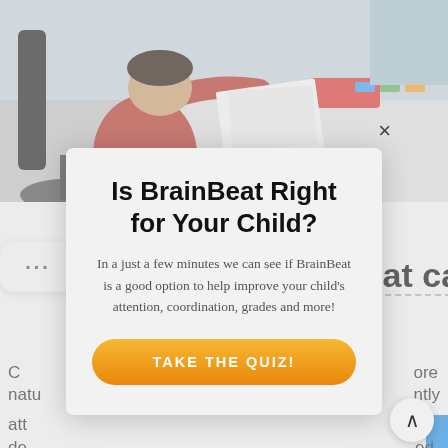[Figure (photo): Child in red shirt sitting at a desk, working on papers/drawings, viewed from the side.]
BRAINBEAT BLOG
How Keeping a Beat can Unlock your Child's Potential
Is BrainBeat Right for Your Child?
In a just a few minutes we can see if BrainBeat is a good option to help improve your child's attention, coordination, grades and more!
TAKE THE QUIZ!